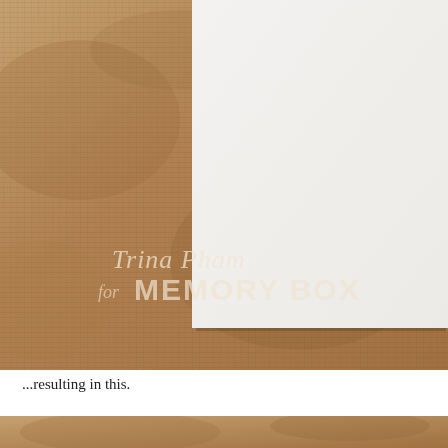[Figure (photo): Photograph of a white card/paper sheet placed on a kraft brown cardboard background. The white paper occupies the right portion of the image, while the textured brown kraft paper is visible on the left and bottom. A watermark reads 'Trina Pham for MEMORY BOX' in semi-transparent white text overlaid on the kraft area.]
...resulting in this.
[Figure (photo): Partial view of a second photograph showing a kraft brown background, cropped at the bottom of the page.]